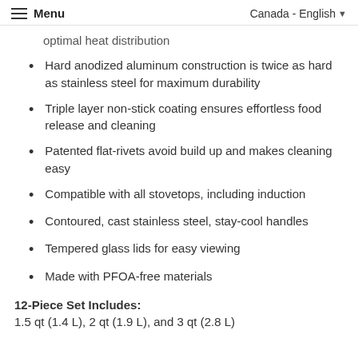Menu | Canada - English
optimal heat distribution
Hard anodized aluminum construction is twice as hard as stainless steel for maximum durability
Triple layer non-stick coating ensures effortless food release and cleaning
Patented flat-rivets avoid build up and makes cleaning easy
Compatible with all stovetops, including induction
Contoured, cast stainless steel, stay-cool handles
Tempered glass lids for easy viewing
Made with PFOA-free materials
12-Piece Set Includes:
1.5 qt (1.4 L), 2 qt (1.9 L), and 3 qt (2.8 L)